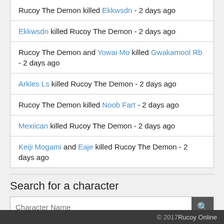Rucoy The Demon killed Ekkwsdn - 2 days ago
Ekkwsdn killed Rucoy The Demon - 2 days ago
Rucoy The Demon and Yowai Mo killed Gwakamool Rb - 2 days ago
Arkles Ls killed Rucoy The Demon - 2 days ago
Rucoy The Demon killed Noob Fart - 2 days ago
Mexiican killed Rucoy The Demon - 2 days ago
Keiji Mogami and Eaje killed Rucoy The Demon - 2 days ago
Search for a character
© 2017 Rucoy Online